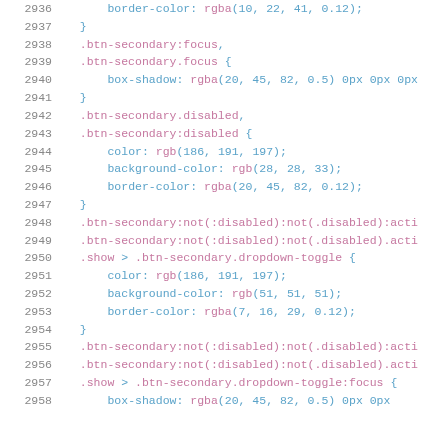2936    border-color: rgba(10, 22, 41, 0.12);
2937  }
2938  .btn-secondary:focus,
2939  .btn-secondary.focus {
2940    box-shadow: rgba(20, 45, 82, 0.5) 0px 0px 0px
2941  }
2942  .btn-secondary.disabled,
2943  .btn-secondary:disabled {
2944    color: rgb(186, 191, 197);
2945    background-color: rgb(28, 28, 33);
2946    border-color: rgba(20, 45, 82, 0.12);
2947  }
2948  .btn-secondary:not(:disabled):not(.disabled):acti
2949  .btn-secondary:not(:disabled):not(.disabled).acti
2950  .show > .btn-secondary.dropdown-toggle {
2951    color: rgb(186, 191, 197);
2952    background-color: rgb(51, 51, 51);
2953    border-color: rgba(7, 16, 29, 0.12);
2954  }
2955  .btn-secondary:not(:disabled):not(.disabled):acti
2956  .btn-secondary:not(:disabled):not(.disabled).acti
2957  .show > .btn-secondary.dropdown-toggle:focus {
2958    box-shadow: rgba(20, 45, 82, 0.5) 0px 0px